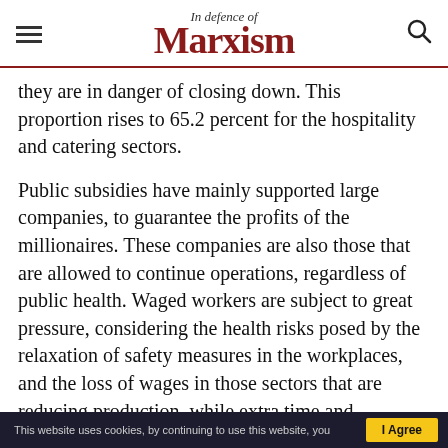In Defence of Marxism
they are in danger of closing down. This proportion rises to 65.2 percent for the hospitality and catering sectors.
Public subsidies have mainly supported large companies, to guarantee the profits of the millionaires. These companies are also those that are allowed to continue operations, regardless of public health. Waged workers are subject to great pressure, considering the health risks posed by the relaxation of safety measures in the workplaces, and the loss of wages in those sectors that are reducing production, while extra time and
This website uses cookies, by continuing to use this website, you | I Agree